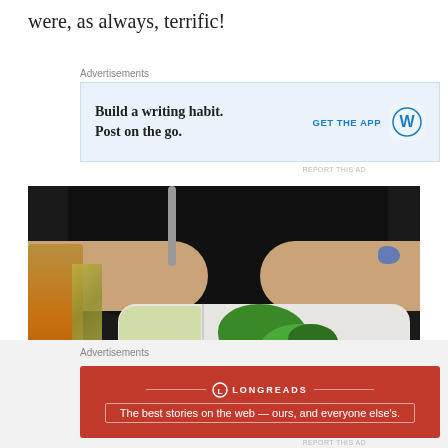were, as always, terrific!
Advertisements
[Figure (screenshot): WordPress.com advertisement: Build a writing habit. Post on the go. GET THE APP with WordPress logo]
[Figure (photo): Person wearing black shirt holding a takeout container with a salad (green herbs, carrots, jalapeños), and a drink visible on the left with foil packaging]
Advertisements
[Figure (screenshot): Longreads advertisement on red background: The best stories on the web — ours, and everyone else's.]